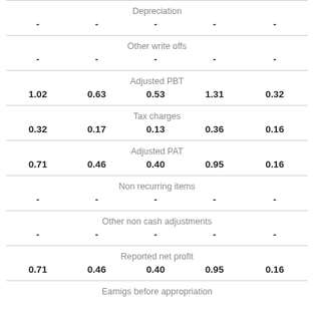| Depreciation |  |  |  |  |
| - | - | - | - | - |
| Other write offs |  |  |  |  |
| - | - | - | - | - |
| Adjusted PBT |  |  |  |  |
| 1.02 | 0.63 | 0.53 | 1.31 | 0.32 |
| Tax charges |  |  |  |  |
| 0.32 | 0.17 | 0.13 | 0.36 | 0.16 |
| Adjusted PAT |  |  |  |  |
| 0.71 | 0.46 | 0.40 | 0.95 | 0.16 |
| Non recurring items |  |  |  |  |
| - | - | - | - | - |
| Other non cash adjustments |  |  |  |  |
| - | - | - | - | - |
| Reported net profit |  |  |  |  |
| 0.71 | 0.46 | 0.40 | 0.95 | 0.16 |
| Earnigs before appropriation |  |  |  |  |